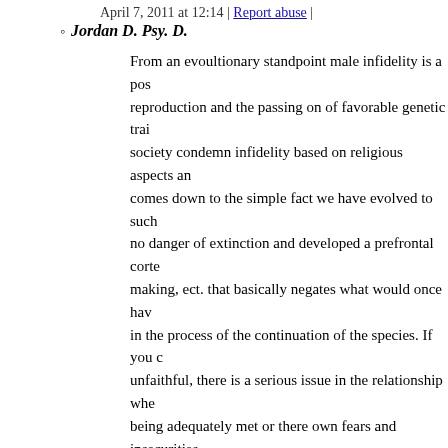April 7, 2011 at 12:14 | Report abuse |
Jordan D. Psy. D.
From an evoultionary standpoint male infidelity is a pos... reproduction and the passing on of favorable genetic trai... society condemn infidelity based on religious aspects an... comes down to the simple fact we have evolved to such no danger of extinction and developed a prefrontal corte... making, ect. that basically negates what would once hav... in the process of the continuation of the species. If you c... unfaithful, there is a serious issue in the relationship whe... being adequately met or there own fears and insecurities outside validation and acceptance. I personally feel infid... inflict that kind of pain on my wife nor would i want to b
April 9, 2011 at 08:52 | Report abuse |
2. David in Corpus
I doubt my wife would even turn down the hot blonde on 4. go
April 7, 2011 at 09:23 | Report abuse | Reply
3. Kerry
Why is there an 11 year old girl in the picture?